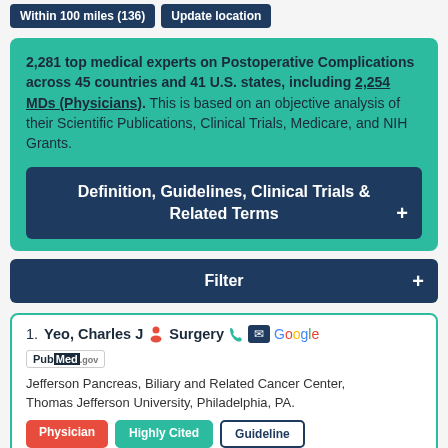Within 100 miles (136) | Update location
2,281 top medical experts on Postoperative Complications across 45 countries and 41 U.S. states, including 2,254 MDs (Physicians). This is based on an objective analysis of their Scientific Publications, Clinical Trials, Medicare, and NIH Grants.
Definition, Guidelines, Clinical Trials & Related Terms +
Filter +
1. Yeo, Charles J | Surgery | Jefferson Pancreas, Biliary and Related Cancer Center, Thomas Jefferson University, Philadelphia, PA. | Physician | Highly Cited | Guideline | Clinical Trial